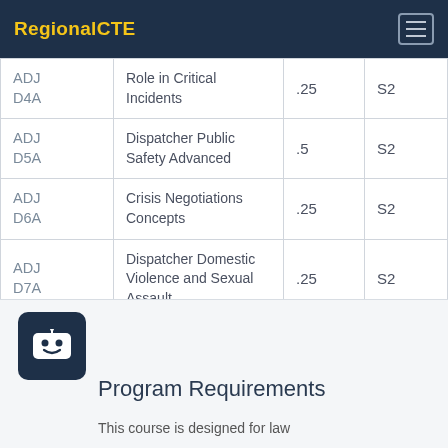RegionalCTE
| Code | Course | Credits | Sem |
| --- | --- | --- | --- |
| ADJ D4A | Role in Critical Incidents | .25 | S2 |
| ADJ D5A | Dispatcher Public Safety Advanced | .5 | S2 |
| ADJ D6A | Crisis Negotiations Concepts | .25 | S2 |
| ADJ D7A | Dispatcher Domestic Violence and Sexual Assault | .25 | S2 |
Program Requirements
This course is designed for law